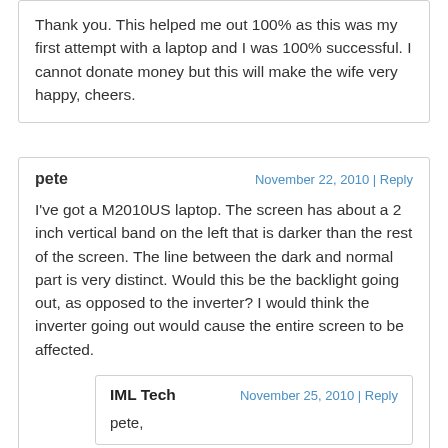Thank you. This helped me out 100% as this was my first attempt with a laptop and I was 100% successful. I cannot donate money but this will make the wife very happy, cheers.
pete | November 22, 2010 | Reply
I've got a M2010US laptop. The screen has about a 2 inch vertical band on the left that is darker than the rest of the screen. The line between the dark and normal part is very distinct. Would this be the backlight going out, as opposed to the inverter? I would think the inverter going out would cause the entire screen to be affected.
IML Tech | November 25, 2010 | Reply
pete,